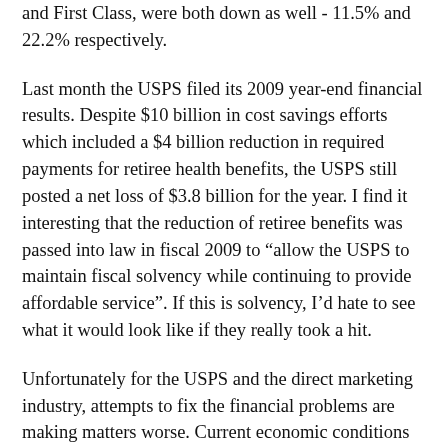and First Class, were both down as well - 11.5% and 22.2% respectively.
Last month the USPS filed its 2009 year-end financial results. Despite $10 billion in cost savings efforts which included a $4 billion reduction in required payments for retiree health benefits, the USPS still posted a net loss of $3.8 billion for the year. I find it interesting that the reduction of retiree benefits was passed into law in fiscal 2009 to “allow the USPS to maintain fiscal solvency while continuing to provide affordable service”. If this is solvency, I’d hate to see what it would look like if they really took a hit.
Unfortunately for the USPS and the direct marketing industry, attempts to fix the financial problems are making matters worse. Current economic conditions have forced advertisers to work within very tight budgets. When you add back-to-back increases in postage rates over the last two years, what ends up